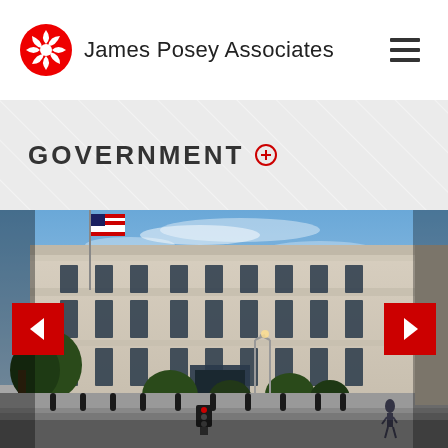James Posey Associates
GOVERNMENT
[Figure (photo): Exterior photo of a large neoclassical government building with stone facade, multiple stories of tall windows, American flag, and street-level trees and bollards. Navigation arrows (left and right) overlay the image.]